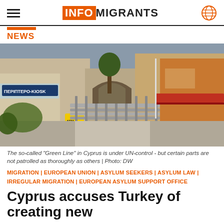INFO MIGRANTS
NEWS
[Figure (photo): Street scene showing the Green Line in Cyprus with metal crowd control barriers blocking a pedestrian street, shops and buildings visible on both sides, trees in background.]
The so-called "Green Line" in Cyprus is under UN-control - but certain parts are not patrolled as thoroughly as others | Photo: DW
MIGRATION | EUROPEAN UNION | ASYLUM SEEKERS | ASYLUM LAW | IRREGULAR MIGRATION | EUROPEAN ASYLUM SUPPORT OFFICE
Cyprus accuses Turkey of creating new